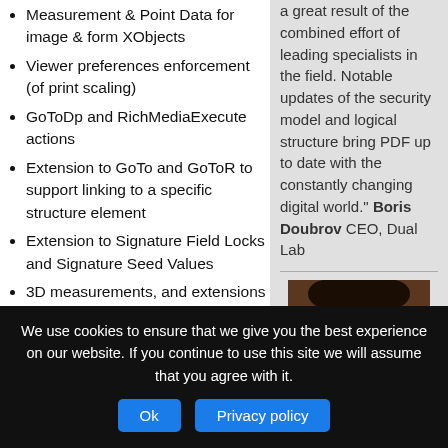Measurement & Point Data for image & form XObjects
Viewer preferences enforcement (of print scaling)
GoToDp and RichMediaExecute actions
Extension to GoTo and GoToR to support linking to a specific structure element
Extension to Signature Field Locks and Signature Seed Values
3D measurements, and extensions to 3D viewing conditions, incl. transparency
Several new structure elements, including Aside,
a great result of the combined effort of leading specialists in the field. Notable updates of the security model and logical structure bring PDF up to date with the constantly changing digital world." Boris Doubrov CEO, Dual Lab
[Figure (photo): Portrait photo of a person]
We use cookies to ensure that we give you the best experience on our website. If you continue to use this site we will assume that you agree with it.
Ok
Privacy policy